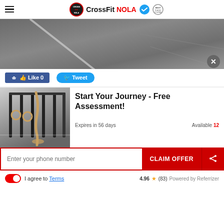CrossFit NOLA
[Figure (photo): Overhead view of dark rubber gym floor with white line markings]
Like 0   Tweet
[Figure (photo): CrossFit gym interior showing gymnastic rings and climbing rope with black pull-up rig]
Start Your Journey - Free Assessment!
Expires in 56 days    Available 12
Enter your phone number
CLAIM OFFER
I agree to Terms   4.96 ★ (83)   Powered by Referrizer